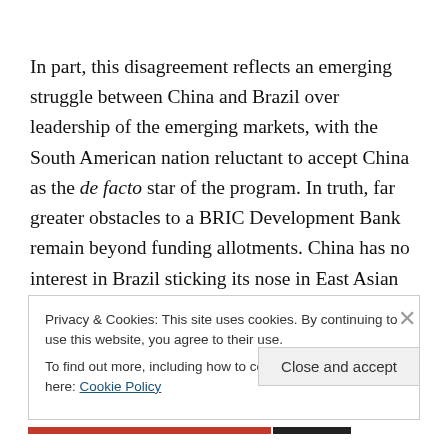In part, this disagreement reflects an emerging struggle between China and Brazil over leadership of the emerging markets, with the South American nation reluctant to accept China as the de facto star of the program. In truth, far greater obstacles to a BRIC Development Bank remain beyond funding allotments. China has no interest in Brazil sticking its nose in East Asian issues, and while Brazil welcomes Chinese trade, it would just as well prefer not to
Privacy & Cookies: This site uses cookies. By continuing to use this website, you agree to their use.
To find out more, including how to control cookies, see here: Cookie Policy
Close and accept